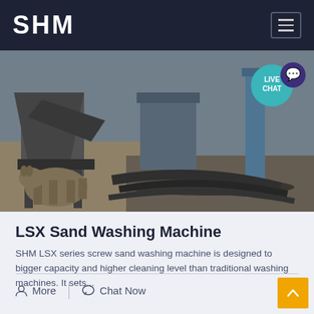SHM
[Figure (photo): Industrial sand washing machine equipment photographed outdoors, showing metal machinery components, pipes and earthen surroundings. A 'LIVE CHAT' teal badge is overlaid in the top right corner.]
LSX Sand Washing Machine
SHM LSX series screw sand washing machine is designed to bigger capacity and higher cleaning level than traditional washing machines. It sets...
More   Chat Now